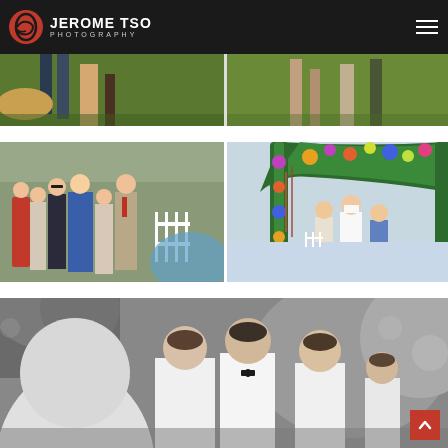JEROME TSO PHOTOGRAPHY
[Figure (photo): Partial outdoor wedding scene showing feet and legs on green grass, two sub-images side by side]
[Figure (photo): Left: wedding guests standing outdoors watching the ceremony, woman in red dress and woman in blue dress prominent. Right: couple exchanging vows under a colorful floral arch with greenery, yellow, purple and orange flowers]
[Figure (photo): Black and white photo of a group of people at an outdoor wedding ceremony, close-up of faces including bride and groomsmen in white shirts]